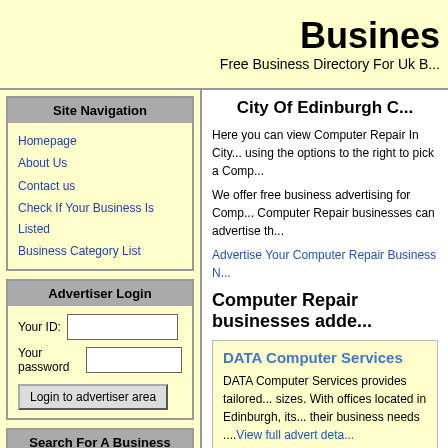Business
Free Business Directory For Uk B...
Site Navigation
Homepage
About Us
Contact us
Check If Your Business Is Listed
Business Category List
Advertiser Login
Your ID:
Your password
Login to advertiser area
Search For A Business
Search Now: (Electrician etc )
City Of Edinburgh C...
Here you can view Computer Repair In City... using the options to the right to pick a Comp...
We offer free business advertising for Comp... Computer Repair businesses can advertise th...
Advertise Your Computer Repair Business N...
Computer Repair businesses adde...
DATA Computer Services
DATA Computer Services provides tailored... sizes. With offices located in Edinburgh, its... their business needs ....View full advert deta...
Listed in: City-of-Edinburgh - Portobello